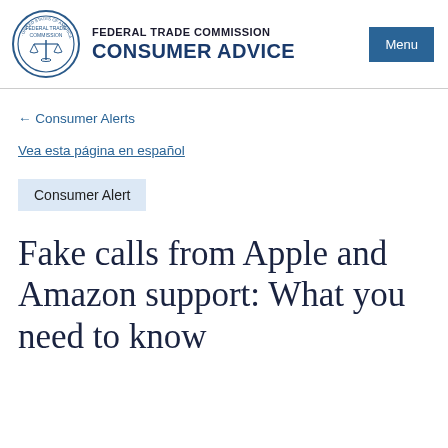FEDERAL TRADE COMMISSION CONSUMER ADVICE
← Consumer Alerts
Vea esta página en español
Consumer Alert
Fake calls from Apple and Amazon support: What you need to know